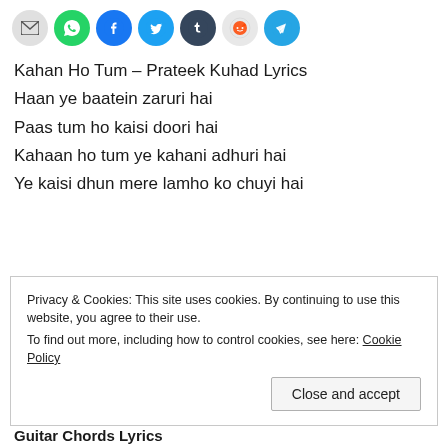[Figure (other): Row of social share icon buttons: email (grey), WhatsApp (green), Facebook (blue), Twitter (light blue), Tumblr (dark navy), Reddit (light grey), Telegram (blue)]
Kahan Ho Tum – Prateek Kuhad Lyrics
Haan ye baatein zaruri hai
Paas tum ho kaisi doori hai
Kahaan ho tum ye kahani adhuri hai
Ye kaisi dhun mere lamho ko chuyi hai
Privacy & Cookies: This site uses cookies. By continuing to use this website, you agree to their use.
To find out more, including how to control cookies, see here: Cookie Policy
Guiton Chords Loggor